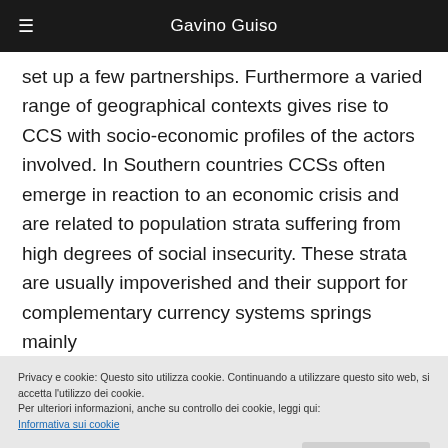Gavino Guiso
set up a few partnerships. Furthermore a varied range of geographical contexts gives rise to CCS with socio-economic profiles of the actors involved. In Southern countries CCSs often emerge in reaction to an economic crisis and are related to population strata suffering from high degrees of social insecurity. These strata are usually impoverished and their support for complementary currency systems springs mainly
Privacy e cookie: Questo sito utilizza cookie. Continuando a utilizzare questo sito web, si accetta l'utilizzo dei cookie.
Per ulteriori informazioni, anche su controllo dei cookie, leggi qui:
Informativa sui cookie
Accetta e chiudi
g...